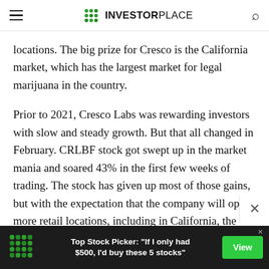INVESTORPLACE
locations. The big prize for Cresco is the California market, which has the largest market for legal marijuana in the country.
Prior to 2021, Cresco Labs was rewarding investors with slow and steady growth. But that all changed in February. CRLBF stock got swept up in the market mania and soared 43% in the first few weeks of trading. The stock has given up most of those gains, but with the expectation that the company will open more retail locations, including in California, the company has
[Figure (screenshot): Advertisement banner: Top Stock Picker: 'If I only had $500, I'd buy these 5 stocks' with View button]